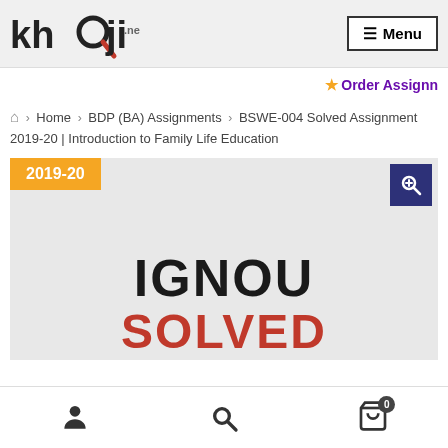khoji.net | Menu
★ Order Assignn
Home > BDP (BA) Assignments > BSWE-004 Solved Assignment 2019-20 | Introduction to Family Life Education
[Figure (screenshot): IGNOU Solved Assignment product image with 2019-20 badge and zoom button]
User icon | Search icon | Cart icon with badge 0